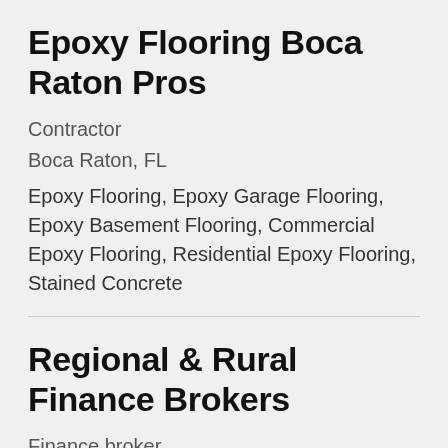Epoxy Flooring Boca Raton Pros
Contractor
Boca Raton, FL
Epoxy Flooring, Epoxy Garage Flooring, Epoxy Basement Flooring, Commercial Epoxy Flooring, Residential Epoxy Flooring, Stained Concrete
Regional & Rural Finance Brokers
Finance broker
Mildura, VIC
Expert finance and mortgage brokers for rural and regional Australia